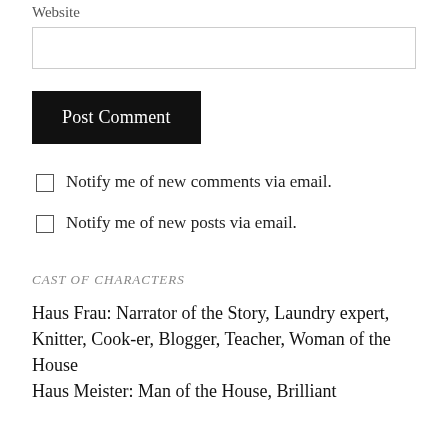Website
Post Comment
Notify me of new comments via email.
Notify me of new posts via email.
CAST OF CHARACTERS
Haus Frau: Narrator of the Story, Laundry expert, Knitter, Cook-er, Blogger, Teacher, Woman of the House
Haus Meister: Man of the House, Brilliant